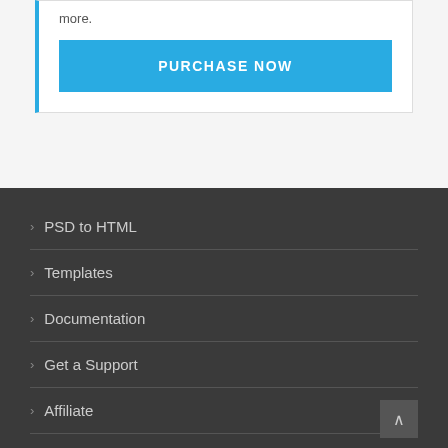more.
PURCHASE NOW
PSD to HTML
Templates
Documentation
Get a Support
Affiliate